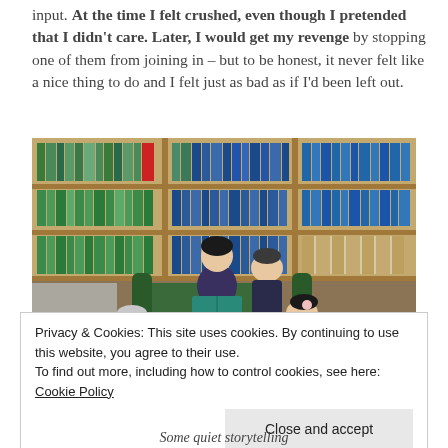input. At the time I felt crushed, even though I pretended that I didn't care. Later, I would get my revenge by stopping one of them from joining in – but to be honest, it never felt like a nice thing to do and I felt just as bad as if I'd been left out.
[Figure (photo): A woman sitting in a green armchair reading a book to three children in a library with bookshelves full of books behind them.]
Privacy & Cookies: This site uses cookies. By continuing to use this website, you agree to their use. To find out more, including how to control cookies, see here: Cookie Policy
Some quiet storytelling